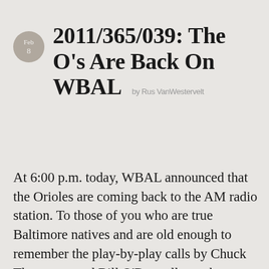2011/365/039: The O's Are Back On WBAL by Rus VanWestervelt
At 6:00 p.m. today, WBAL announced that the Orioles are coming back to the AM radio station. To those of you who are true Baltimore natives and are old enough to remember the play-by-play calls by Chuck Thompson and Bill O'Donnell, you know why this is such a big deal. The O's and WBAL are tradition, they are history, they are